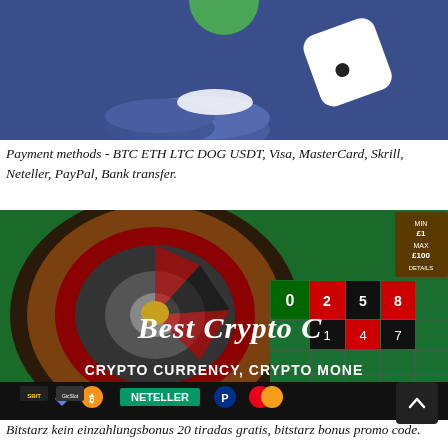[Figure (illustration): Blue background casino-themed illustration with poker chips and a white dice, partial view from top]
Payment methods - BTC ETH LTC DOG USDT, Visa, MasterCard, Skrill, Neteller, PayPal, Bank transfer.
[Figure (photo): Casino roulette table with text overlays: 'Best Crypto C' (truncated), 'CRYPTO CURRENCY, CRYPTO MONEY' (truncated), NETELLER logo, PayPal logo, Ethereum logo, Bitcoin logo, and various casino brand logos at the bottom. MIN £1 MAX £100 DETAILS shown top right.]
Bitstarz kein einzahlungsbonus 20 tiradas gratis, bitstarz bonus promo code.